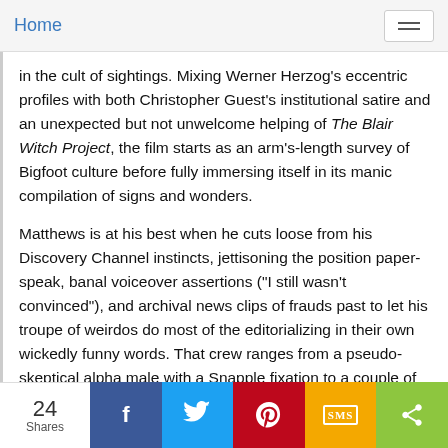Home
in the cult of sightings. Mixing Werner Herzog's eccentric profiles with both Christopher Guest's institutional satire and an unexpected but not unwelcome helping of The Blair Witch Project, the film starts as an arm's-length survey of Bigfoot culture before fully immersing itself in its manic compilation of signs and wonders.
Matthews is at his best when he cuts loose from his Discovery Channel instincts, jettisoning the position paper-speak, banal voiceover assertions ("I still wasn't convinced"), and archival news clips of frauds past to let his troupe of weirdos do most of the editorializing in their own wickedly funny words. That crew ranges from a pseudo-skeptical alpha male with a Snapple fixation to a couple of men with serious cognitive disabilities, for whom seeing uncanny beasts in the forest is an impairment
24 Shares | Facebook | Twitter | Pinterest | SMS | Share